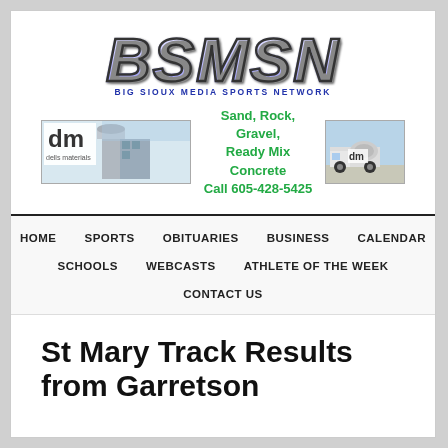[Figure (logo): BSMSN - Big Sioux Media Sports Network logo with large stylized italic letters and subtitle]
[Figure (infographic): Dells Materials advertisement banner with logo images on left and right, center text: Sand, Rock, Gravel, Ready Mix Concrete, Call 605-428-5425]
HOME   SPORTS   OBITUARIES   BUSINESS   CALENDAR   SCHOOLS   WEBCASTS   ATHLETE OF THE WEEK   CONTACT US
St Mary Track Results from Garretson